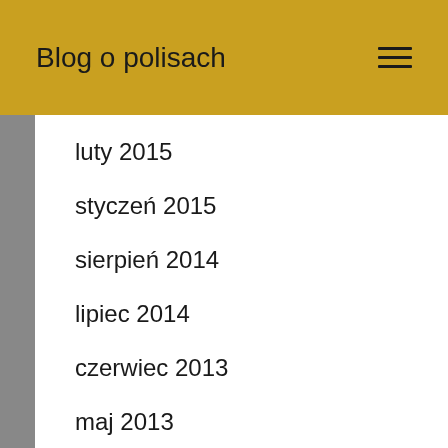Blog o polisach
luty 2015
styczeń 2015
sierpień 2014
lipiec 2014
czerwiec 2013
maj 2013
kwiecień 2013
marzec 2013
luty 2013
styczeń 2013
grudzień 2012